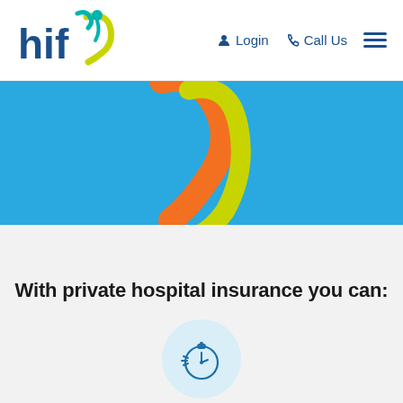[Figure (logo): HIF logo - blue text 'hif' with stylized yellow-green and teal figure graphic]
Login  Call Us  ☰
[Figure (illustration): Blue banner with orange and yellow-green curved swoosh/ribbon design on light blue background]
With private hospital insurance you can:
[Figure (illustration): Stopwatch/speed icon in blue outline style, inside a light blue circle]